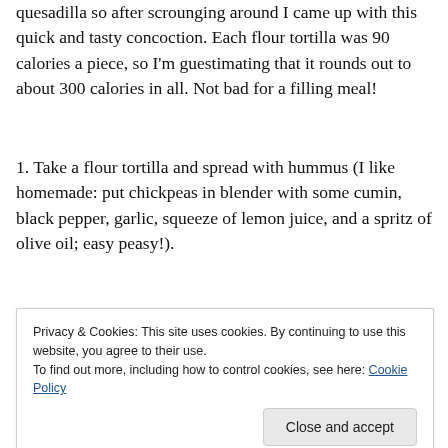quesadilla so after scrounging around I came up with this quick and tasty concoction. Each flour tortilla was 90 calories a piece, so I'm guestimating that it rounds out to about 300 calories in all. Not bad for a filling meal!
1. Take a flour tortilla and spread with hummus (I like homemade: put chickpeas in blender with some cumin, black pepper, garlic, squeeze of lemon juice, and a spritz of olive oil; easy peasy!).
[Figure (other): Green plugin banner/button element]
Privacy & Cookies: This site uses cookies. By continuing to use this website, you agree to their use.
To find out more, including how to control cookies, see here: Cookie Policy